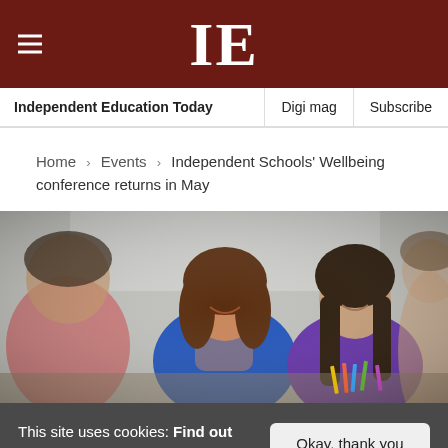IE — Independent Education Today | Digi mag | Subscribe
Home > Events > Independent Schools' Wellbeing conference returns in May
[Figure (photo): A smiling female teacher in a blue top sits with students in a classroom. A boy in a red shirt is on her left; a teenage girl in a purple top with long dark hair is on her right. Pencils and colored pens are visible on the desk.]
This site uses cookies: Find out more.